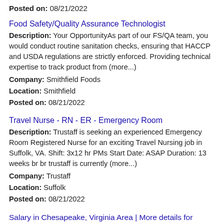Posted on: 08/21/2022
Food Safety/Quality Assurance Technologist
Description: Your OpportunityAs part of our FS/QA team, you would conduct routine sanitation checks, ensuring that HACCP and USDA regulations are strictly enforced. Providing technical expertise to track product from (more...)
Company: Smithfield Foods
Location: Smithfield
Posted on: 08/21/2022
Travel Nurse - RN - ER - Emergency Room
Description: Trustaff is seeking an experienced Emergency Room Registered Nurse for an exciting Travel Nursing job in Suffolk, VA. Shift: 3x12 hr PMs Start Date: ASAP Duration: 13 weeks br br trustaff is currently (more...)
Company: Trustaff
Location: Suffolk
Posted on: 08/21/2022
Salary in Chesapeake, Virginia Area | More details for Chesapeake, Virginia Jobs |Salary
LPN - Licensed Practical Nurse Wanted